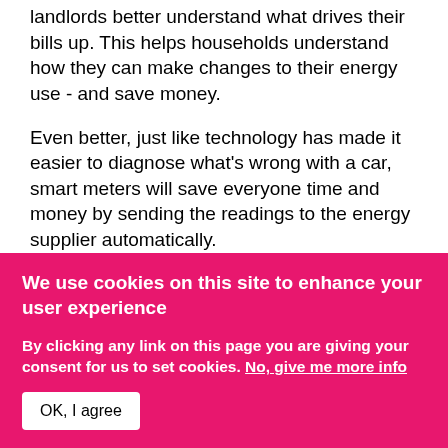landlords better understand what drives their bills up. This helps households understand how they can make changes to their energy use - and save money.
Even better, just like technology has made it easier to diagnose what's wrong with a car, smart meters will save everyone time and money by sending the readings to the energy supplier automatically.
Job #2: Check what eco features the property has already
By clicking any...
We use cookies on this site to enhance your user experience
By clicking any link on this page you are giving your consent for us to set cookies. No, give me more info
OK, I agree